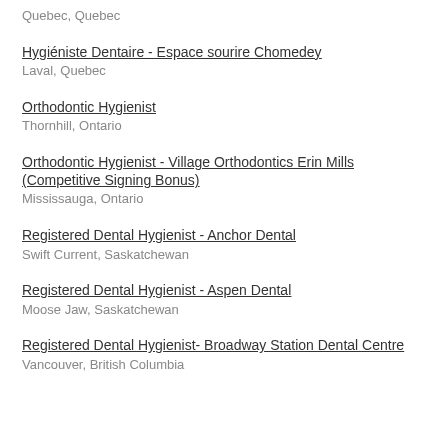Quebec, Quebec
Hygiéniste Dentaire - Espace sourire Chomedey
Laval, Quebec
Orthodontic Hygienist
Thornhill, Ontario
Orthodontic Hygienist - Village Orthodontics Erin Mills (Competitive Signing Bonus)
Mississauga, Ontario
Registered Dental Hygienist - Anchor Dental
Swift Current, Saskatchewan
Registered Dental Hygienist - Aspen Dental
Moose Jaw, Saskatchewan
Registered Dental Hygienist- Broadway Station Dental Centre
Vancouver, British Columbia